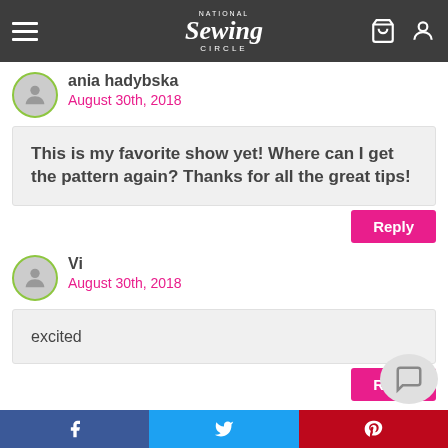National Sewing Circle
ania hadybska
August 30th, 2018
This is my favorite show yet! Where can I get the pattern again? Thanks for all the great tips!
Reply
Vi
August 30th, 2018
excited
Reply
Meg
August 30th, 2018